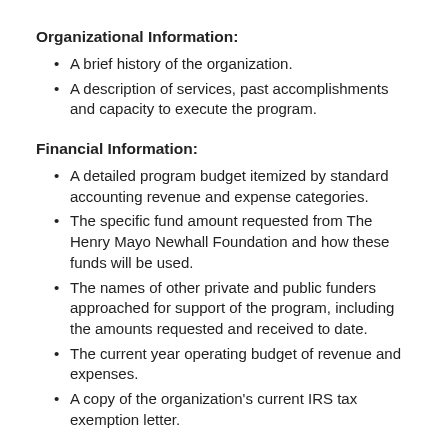Organizational Information:
A brief history of the organization.
A description of services, past accomplishments and capacity to execute the program.
Financial Information:
A detailed program budget itemized by standard accounting revenue and expense categories.
The specific fund amount requested from The Henry Mayo Newhall Foundation and how these funds will be used.
The names of other private and public funders approached for support of the program, including the amounts requested and received to date.
The current year operating budget of revenue and expenses.
A copy of the organization's current IRS tax exemption letter.